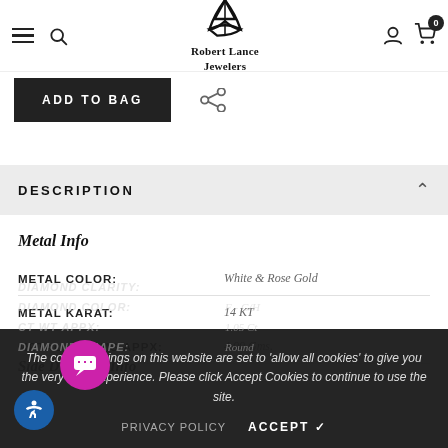Robert Lance Jewelers
ADD TO BAG
DESCRIPTION
Metal Info
| Property | Value |
| --- | --- |
| METAL COLOR: | White & Rose Gold |
| METAL KARAT: | 14 KT |
| METAL WT GMS APPX: | 4.00 Gms. |
Side Diamond Info
The cookie settings on this website are set to 'allow all cookies' to give you the very best experience. Please click Accept Cookies to continue to use the site.
PRIVACY POLICY   ACCEPT ✓